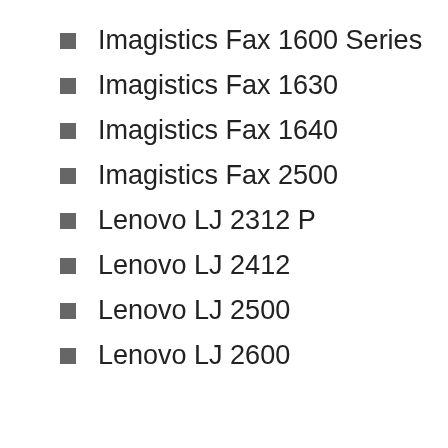Imagistics Fax 1600 Series
Imagistics Fax 1630
Imagistics Fax 1640
Imagistics Fax 2500
Lenovo LJ 2312 P
Lenovo LJ 2412
Lenovo LJ 2500
Lenovo LJ 2600